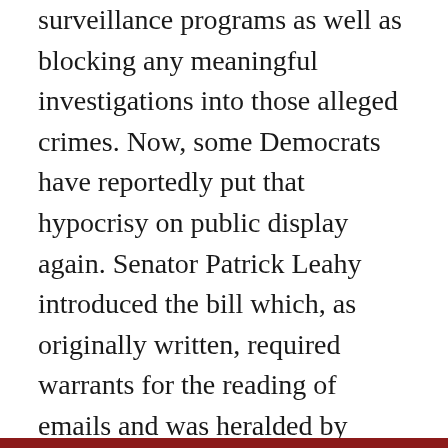surveillance programs as well as blocking any meaningful investigations into those alleged crimes. Now, some Democrats have reportedly put that hypocrisy on public display again. Senator Patrick Leahy introduced the bill which, as originally written, required warrants for the reading of emails and was heralded by Democrats during the campaign as their showing of fealty to privacy and civil liberties. The Justice Department then took the bill